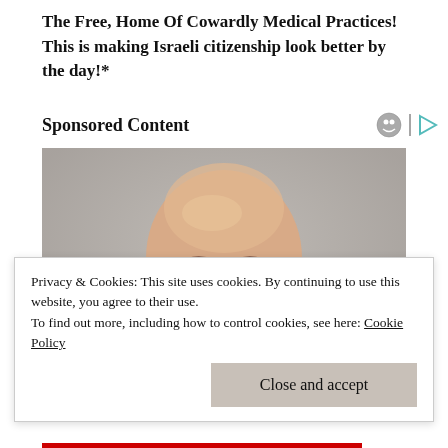The Free, Home Of Cowardly Medical Practices! This is making Israeli citizenship look better by the day!*
Sponsored Content
[Figure (photo): Headshot of a bald older man with a slight smile, photographed against a grey background.]
Privacy & Cookies: This site uses cookies. By continuing to use this website, you agree to their use.
To find out more, including how to control cookies, see here: Cookie Policy
Close and accept